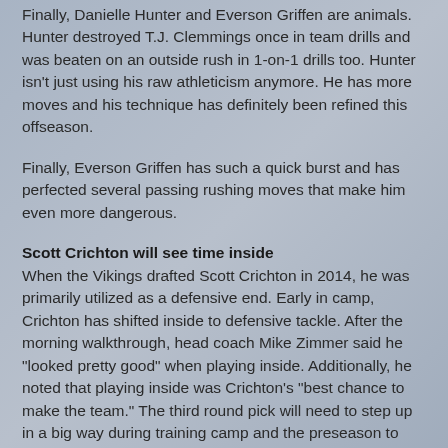Finally, Danielle Hunter and Everson Griffen are animals. Hunter destroyed T.J. Clemmings once in team drills and was beaten on an outside rush in 1-on-1 drills too. Hunter isn't just using his raw athleticism anymore. He has more moves and his technique has definitely been refined this offseason.
Finally, Everson Griffen has such a quick burst and has perfected several passing rushing moves that make him even more dangerous.
Scott Crichton will see time inside
When the Vikings drafted Scott Crichton in 2014, he was primarily utilized as a defensive end. Early in camp, Crichton has shifted inside to defensive tackle. After the morning walkthrough, head coach Mike Zimmer said he "looked pretty good" when playing inside. Additionally, he noted that playing inside was Crichton's "best chance to make the team." The third round pick will need to step up in a big way during training camp and the preseason to slide his way onto the final 53-man roster.
Roach and Howell and Robinson make a ca...